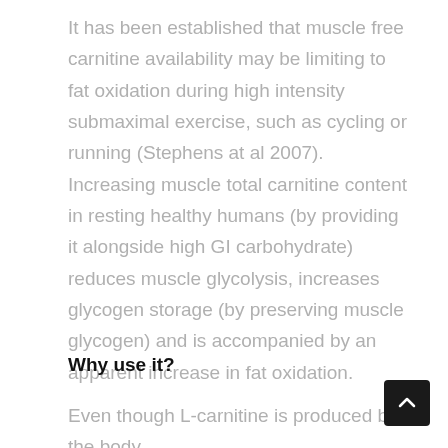It has been established that muscle free carnitine availability may be limiting to fat oxidation during high intensity submaximal exercise, such as cycling or running (Stephens at al 2007). Increasing muscle total carnitine content in resting healthy humans (by providing it alongside high GI carbohydrate) reduces muscle glycolysis, increases glycogen storage (by preserving muscle glycogen) and is accompanied by an apparent increase in fat oxidation.
Why use it?
Even though L-carnitine is produced by the body